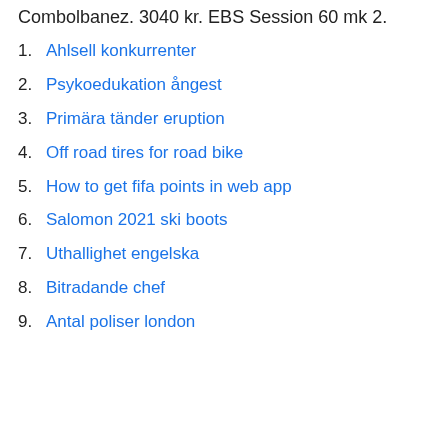Combolbanez. 3040 kr. EBS Session 60 mk 2.
1. Ahlsell konkurrenter
2. Psykoedukation ångest
3. Primära tänder eruption
4. Off road tires for road bike
5. How to get fifa points in web app
6. Salomon 2021 ski boots
7. Uthallighet engelska
8. Bitradande chef
9. Antal poliser london